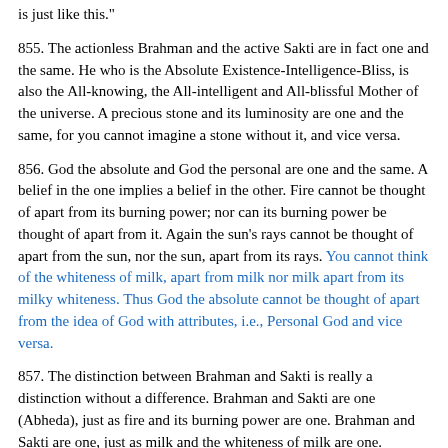is just like this."
855. The actionless Brahman and the active Sakti are in fact one and the same. He who is the Absolute Existence-Intelligence-Bliss, is also the All-knowing, the All-intelligent and All-blissful Mother of the universe. A precious stone and its luminosity are one and the same, for you cannot imagine a stone without it, and vice versa.
856. God the absolute and God the personal are one and the same. A belief in the one implies a belief in the other. Fire cannot be thought of apart from its burning power; nor can its burning power be thought of apart from it. Again the sun's rays cannot be thought of apart from the sun, nor the sun, apart from its rays. You cannot think of the whiteness of milk, apart from milk nor milk apart from its milky whiteness. Thus God the absolute cannot be thought of apart from the idea of God with attributes, i.e., Personal God and vice versa.
857. The distinction between Brahman and Sakti is really a distinction without a difference. Brahman and Sakti are one (Abheda), just as fire and its burning power are one. Brahman and Sakti are one, just as milk and the whiteness of milk are one. Brahman and Sakti are one, just as a gem and its brightness are one. You cannot conceive of one without the other, or make a difference between them.